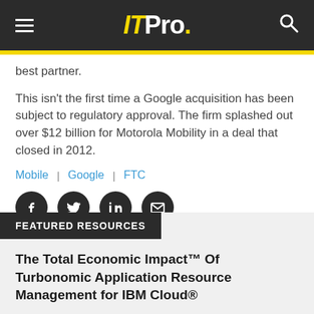IT Pro.
best partner.
This isn't the first time a Google acquisition has been subject to regulatory approval. The firm splashed out over $12 billion for Motorola Mobility in a deal that closed in 2012.
Mobile | Google | FTC
[Figure (other): Social sharing icons: Facebook, Twitter, LinkedIn, Email]
FEATURED RESOURCES
The Total Economic Impact™ Of Turbonomic Application Resource Management for IBM Cloud®